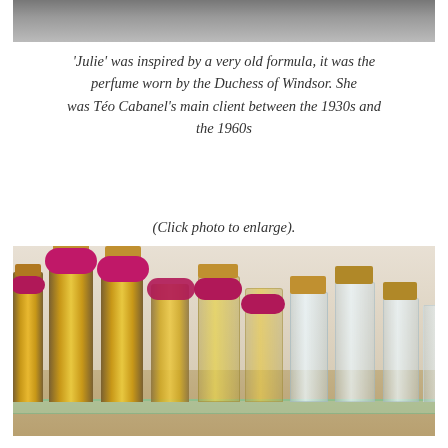[Figure (photo): Top portion of a black and white photograph, partially cropped at top of page]
'Julie' was inspired by a very old formula, it was the perfume worn by the Duchess of Windsor. She was Téo Cabanel's main client between the 1930s and the 1960s
(Click photo to enlarge).
[Figure (photo): Row of luxury perfume bottles on a glass shelf, gold and silver bottles with pink/magenta bows on the left, clear glass bottles on the right, some with yellow liquid]
Caroline Ilacqua steps into the picture in 2003. Only 22 years old at the time, she boldly takes up the torch and expressing her own sensitivity gives a zip to the timeless fragrances. Working hand in hand with Jean-